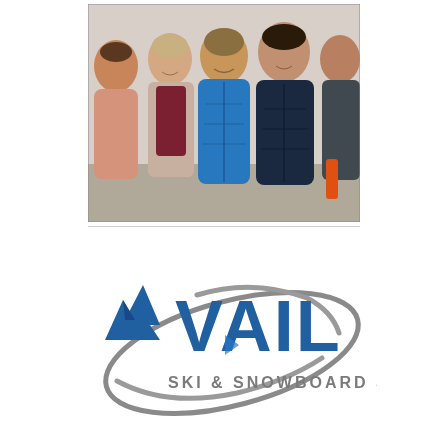[Figure (photo): Group photo of five people wearing winter outdoor gear (puffy jackets, vest, ski wear) smiling indoors. One person in blue puffer jacket in center, others around them wearing maroon, orange/tan, dark blue, and grey jackets.]
[Figure (logo): Vail Ski & Snowboard School logo. Features a blue stylized mountain/wave icon on the left, bold blue text 'VAIL' in large letters, a grey swoosh/ellipse arc design, and text 'SKI & SNOWBOARD SCHOOL' below in grey.]